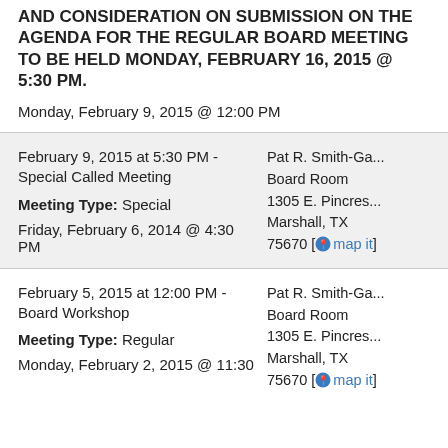AND CONSIDERATION ON SUBMISSION ON THE AGENDA FOR THE REGULAR BOARD MEETING TO BE HELD MONDAY, FEBRUARY 16, 2015 @ 5:30 PM.
Monday, February 9, 2015 @ 12:00 PM
February 9, 2015 at 5:30 PM - Special Called Meeting
Meeting Type: Special
Friday, February 6, 2014 @ 4:30 PM
Pat R. Smith-Ga...
Board Room
1305 E. Pincres...
Marshall, TX
75670 [map it]
February 5, 2015 at 12:00 PM - Board Workshop
Meeting Type: Regular
Monday, February 2, 2015 @ 11:30
Pat R. Smith-Ga...
Board Room
1305 E. Pincres...
Marshall, TX
75670 [map it]